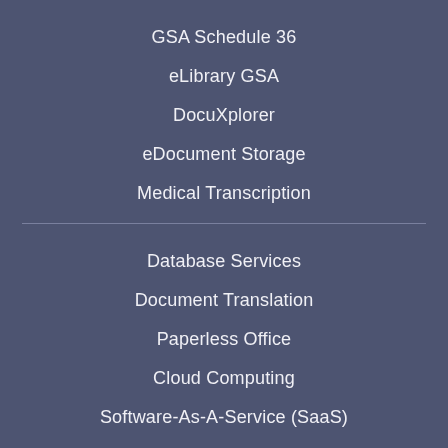GSA Schedule 36
eLibrary GSA
DocuXplorer
eDocument Storage
Medical Transcription
Database Services
Document Translation
Paperless Office
Cloud Computing
Software-As-A-Service (SaaS)
On-site Support